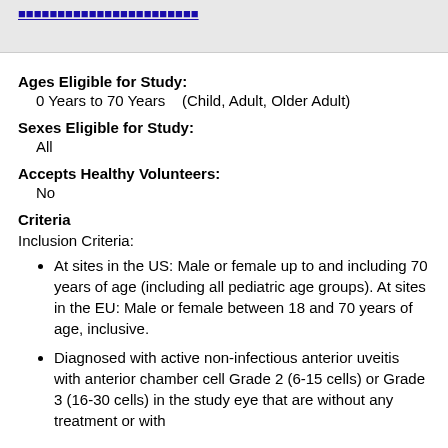[link/navigation bar at top]
Ages Eligible for Study:
0 Years to 70 Years   (Child, Adult, Older Adult)
Sexes Eligible for Study:
All
Accepts Healthy Volunteers:
No
Criteria
Inclusion Criteria:
At sites in the US: Male or female up to and including 70 years of age (including all pediatric age groups). At sites in the EU: Male or female between 18 and 70 years of age, inclusive.
Diagnosed with active non-infectious anterior uveitis with anterior chamber cell Grade 2 (6-15 cells) or Grade 3 (16-30 cells) in the study eye that are without any treatment or with